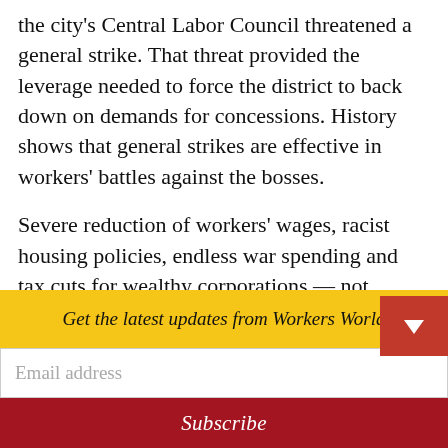the city's Central Labor Council threatened a general strike. That threat provided the leverage needed to force the district to back down on demands for concessions. History shows that general strikes are effective in workers' battles against the bosses.
Severe reduction of workers' wages, racist housing policies, endless war spending and tax cuts for wealthy corporations — not teachers' salaries and benefits — are to blame for funding shortfalls. Taking on the fight for public education means taking out
Get the latest updates from Workers World
Email address
Subscribe